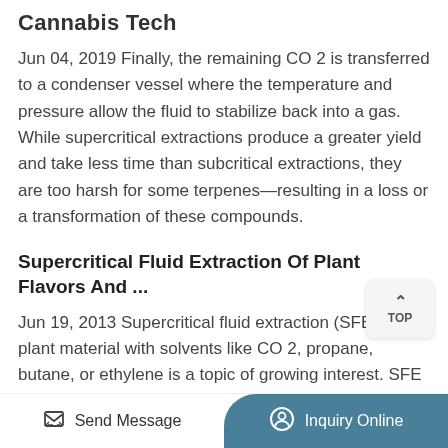Cannabis Tech
Jun 04, 2019 Finally, the remaining CO 2 is transferred to a condenser vessel where the temperature and pressure allow the fluid to stabilize back into a gas. While supercritical extractions produce a greater yield and take less time than subcritical extractions, they are too harsh for some terpenes—resulting in a loss or a transformation of these compounds.
Supercritical Fluid Extraction Of Plant Flavors And ...
Jun 19, 2013 Supercritical fluid extraction (SFE) of plant material with solvents like CO 2, propane, butane, or ethylene is a topic of growing interest. SFE allows the processing of plant material at low temperature and pressure, allowing the...
Send Message | Inquiry Online